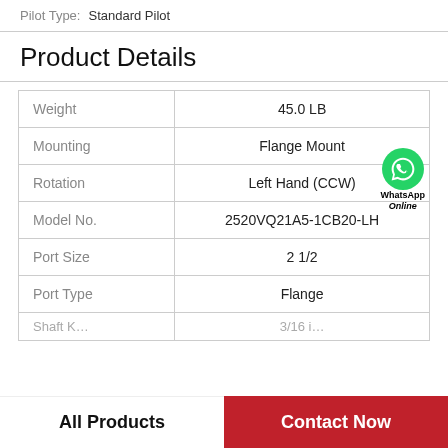Pilot Type: Standard Pilot
Product Details
| Property | Value |
| --- | --- |
| Weight | 45.0 LB |
| Mounting | Flange Mount |
| Rotation | Left Hand (CCW) |
| Model No. | 2520VQ21A5-1CB20-LH |
| Port Size | 2 1/2 |
| Port Type | Flange |
| Shaft K… | 3/16 i… |
All Products | Contact Now